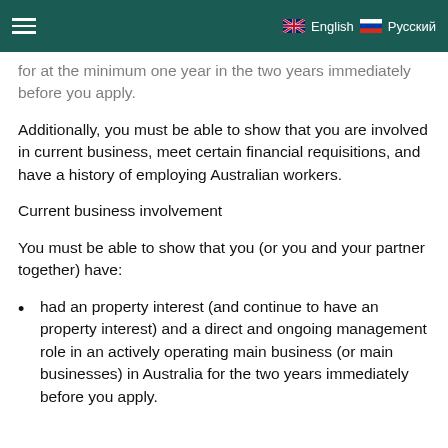English  Русский
for at the minimum one year in the two years immediately before you apply.
Additionally, you must be able to show that you are involved in current business, meet certain financial requisitions, and have a history of employing Australian workers.
Current business involvement
You must be able to show that you (or you and your partner together) have:
had an property interest (and continue to have an property interest) and a direct and ongoing management role in an actively operating main business (or main businesses) in Australia for the two years immediately before you apply.